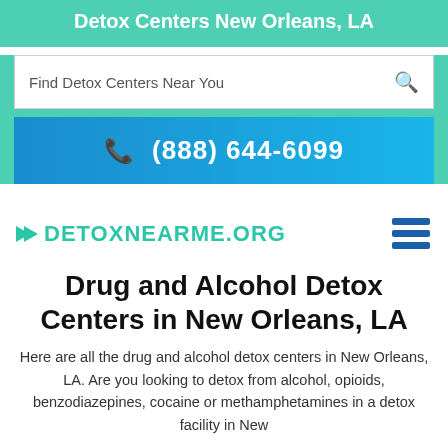Detox Centers New Orleans, LA
Find Detox Centers Near You
(888) 644-6099
[Figure (logo): DetoxNearMe.org logo with teal chevron arrow and hamburger menu icon]
Drug and Alcohol Detox Centers in New Orleans, LA
Here are all the drug and alcohol detox centers in New Orleans, LA. Are you looking to detox from alcohol, opioids, benzodiazepines, cocaine or methamphetamines in a detox facility in New